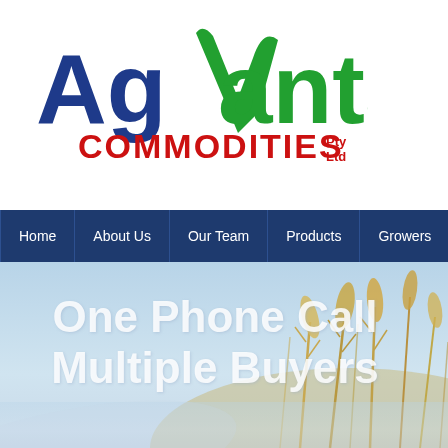[Figure (logo): AgVantage Commodities Pty Ltd logo with blue and green stylized text and wheat motif]
Home
About Us
Our Team
Products
Growers
[Figure (photo): Background hero image of wheat field/grain stalks with light blue sky, overlaid with white bold text 'One Phone Call Multiple Buyers']
One Phone Call Multiple Buyers